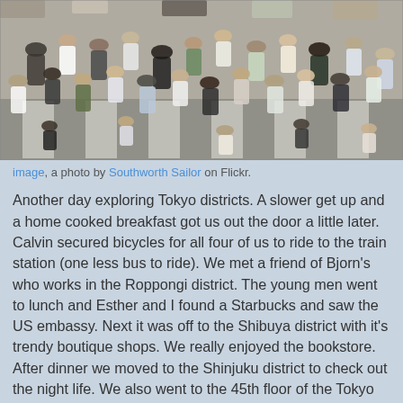[Figure (photo): Aerial/overhead view of a busy pedestrian crossing (scramble crossing) in Tokyo, showing many people of various ages walking across a zebra crossing from multiple directions. The photo is taken from above showing the tops of people's heads and the white striped crossing markings.]
image, a photo by Southworth Sailor on Flickr.
Another day exploring Tokyo districts. A slower get up and a home cooked breakfast got us out the door a little later. Calvin secured bicycles for all four of us to ride to the train station (one less bus to ride). We met a friend of Bjorn's who works in the Roppongi district. The young men went to lunch and Esther and I found a Starbucks and saw the US embassy. Next it was off to the Shibuya district with it's trendy boutique shops. We really enjoyed the bookstore. After dinner we moved to the Shinjuku district to check out the night life. We also went to the 45th floor of the Tokyo Metropolitan Government Building for a view of the city. It is quite impressive with nothing but city as far as you can see. 33 million people in the greater Tokyo/Yokohoma area and most of them are using the public transit system.